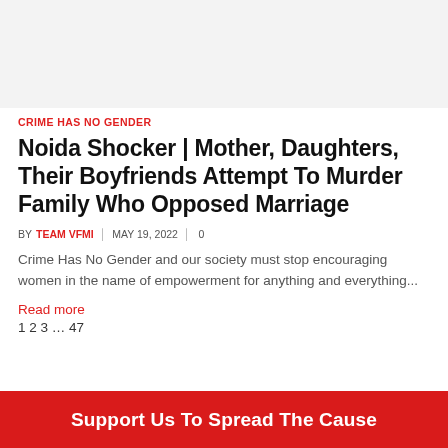[Figure (other): Light grey top banner area, no content]
CRIME HAS NO GENDER
Noida Shocker | Mother, Daughters, Their Boyfriends Attempt To Murder Family Who Opposed Marriage
BY TEAM VFMI  | MAY 19, 2022  |0
Crime Has No Gender and our society must stop encouraging women in the name of empowerment for anything and everything...
Read more
1 2 3 ... 47
Support Us To Spread The Cause